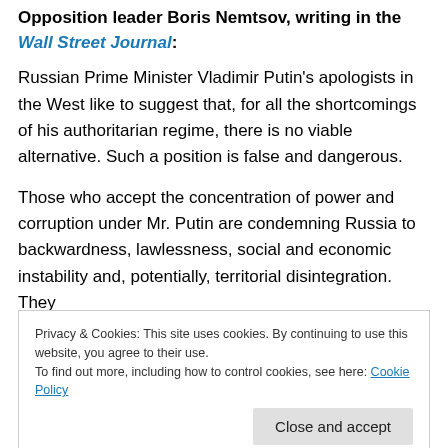Opposition leader Boris Nemtsov, writing in the Wall Street Journal:
Russian Prime Minister Vladimir Putin's apologists in the West like to suggest that, for all the shortcomings of his authoritarian regime, there is no viable alternative. Such a position is false and dangerous.
Those who accept the concentration of power and corruption under Mr. Putin are condemning Russia to backwardness, lawlessness, social and economic instability and, potentially, territorial disintegration. They
Privacy & Cookies: This site uses cookies. By continuing to use this website, you agree to their use.
To find out more, including how to control cookies, see here: Cookie Policy
between the U.S. and Russia, should want.